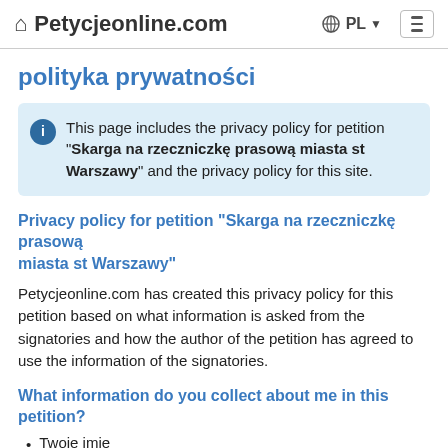Petycjeonline.com  PL  ☰
polityka prywatności
This page includes the privacy policy for petition "Skarga na rzeczniczkę prasową miasta st Warszawy" and the privacy policy for this site.
Privacy policy for petition "Skarga na rzeczniczkę prasową miasta st Warszawy"
Petycjeonline.com has created this privacy policy for this petition based on what information is asked from the signatories and how the author of the petition has agreed to use the information of the signatories.
What information do you collect about me in this petition?
Twoje imię